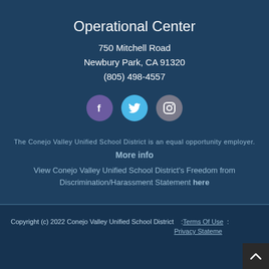Operational Center
750 Mitchell Road
Newbury Park, CA 91320
(805) 498-4557
[Figure (infographic): Three social media icon circles: Facebook (purple), Twitter (cyan), Instagram (gray)]
The Conejo Valley Unified School District is an equal opportunity employer.
More info
View Conejo Valley Unified School District's Freedom from Discrimination/Harassment Statement here
Copyright (c) 2022 Conejo Valley Unified School District   : Terms Of Use  :  Privacy Statement